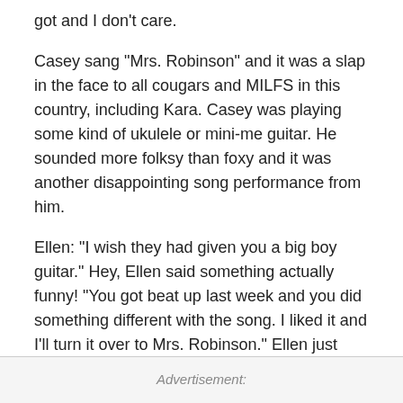got and I don't care.
Casey sang "Mrs. Robinson" and it was a slap in the face to all cougars and MILFS in this country, including Kara. Casey was playing some kind of ukulele or mini-me guitar. He sounded more folksy than foxy and it was another disappointing song performance from him.
Ellen: "I wish they had given you a big boy guitar." Hey, Ellen said something actually funny! "You got beat up last week and you did something different with the song. I liked it and I'll turn it over to Mrs. Robinson." Ellen just regressed back to middle school.
Advertisement: